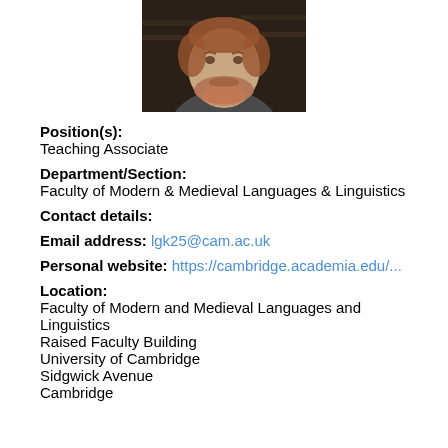[Figure (photo): Headshot photograph of a man with reddish beard, dark background with bookshelves]
Position(s):
Teaching Associate
Department/Section:
Faculty of Modern & Medieval Languages & Linguistics
Contact details:
Email address: lgk25@cam.ac.uk
Personal website: https://cambridge.academia.edu/...
Location:
Faculty of Modern and Medieval Languages and Linguistics
Raised Faculty Building
University of Cambridge
Sidgwick Avenue
Cambridge